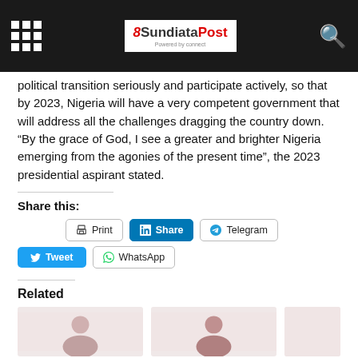SundiataPost
political transition seriously and participate actively, so that by 2023, Nigeria will have a very competent government that will address all the challenges dragging the country down. “By the grace of God, I see a greater and brighter Nigeria emerging from the agonies of the present time”, the 2023 presidential aspirant stated.
Share this:
Print | Share | Telegram | Tweet | WhatsApp
Related
[Figure (photo): Two related article thumbnail images showing people]